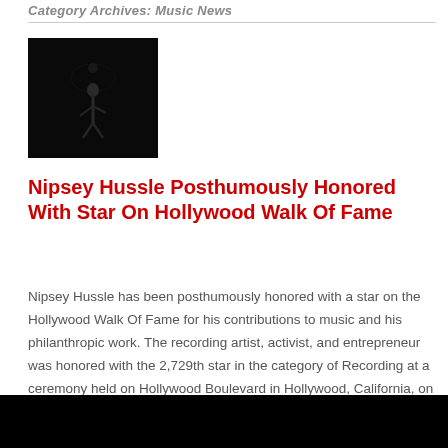Category Archives: Music News
[Figure (photo): Dark concert or performance photo of a person on stage, figure barely visible against black background]
Nipsey Hussle Posthumously Honored With Star On Hollywood Walk Of Fame
Nipsey Hussle has been posthumously honored with a star on the Hollywood Walk Of Fame for his contributions to music and his philanthropic work. The recording artist, activist, and entrepreneur was honored with the 2,729th star in the category of Recording at a ceremony held on Hollywood Boulevard in Hollywood, California, on August 15, which……